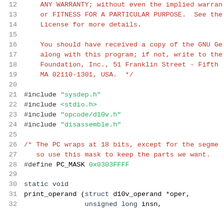12     ANY WARRANTY; without even the implied warran
13     or FITNESS FOR A PARTICULAR PURPOSE.  See the
14     License for more details.
15
16     You should have received a copy of the GNU G
17     along with this program; if not, write to th
18     Foundation, Inc., 51 Franklin Street - Fifth
19     MA 02110-1301, USA.  */
20
21  #include "sysdep.h"
22  #include <stdio.h>
23  #include "opcode/d10v.h"
24  #include "disassemble.h"
25
26  /* The PC wraps at 18 bits, except for the segme
27     so use this mask to keep the parts we want.
28  #define PC_MASK 0x0303FFFF
29
30  static void
31  print_operand (struct d10v_operand *oper,
32                 unsigned long insn,